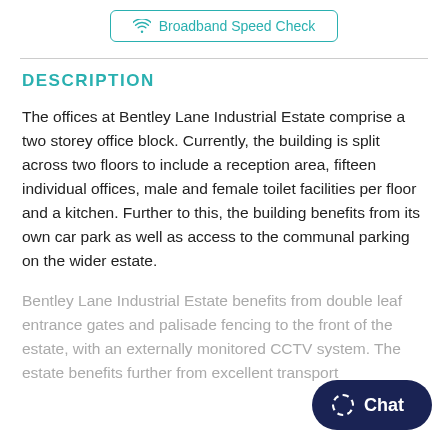Broadband Speed Check
DESCRIPTION
The offices at Bentley Lane Industrial Estate comprise a two storey office block. Currently, the building is split across two floors to include a reception area, fifteen individual offices, male and female toilet facilities per floor and a kitchen. Further to this, the building benefits from its own car park as well as access to the communal parking on the wider estate.
Bentley Lane Industrial Estate benefits from double leaf entrance gates and palisade fencing to the front of the estate, with an externally monitored CCTV system. The estate benefits further from excellent transport